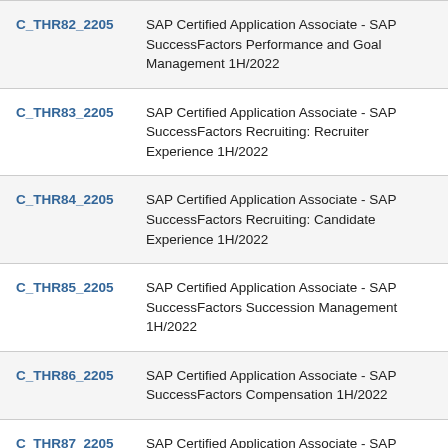| Code | Description |
| --- | --- |
| C_THR82_2205 | SAP Certified Application Associate - SAP SuccessFactors Performance and Goal Management 1H/2022 |
| C_THR83_2205 | SAP Certified Application Associate - SAP SuccessFactors Recruiting: Recruiter Experience 1H/2022 |
| C_THR84_2205 | SAP Certified Application Associate - SAP SuccessFactors Recruiting: Candidate Experience 1H/2022 |
| C_THR85_2205 | SAP Certified Application Associate - SAP SuccessFactors Succession Management 1H/2022 |
| C_THR86_2205 | SAP Certified Application Associate - SAP SuccessFactors Compensation 1H/2022 |
| C_THR87_2205 | SAP Certified Application Associate - SAP SuccessFactors Variable Pay 1H/2022 |
| C_THR88_2205 | SAP Certified Application Associate - SAP ... |